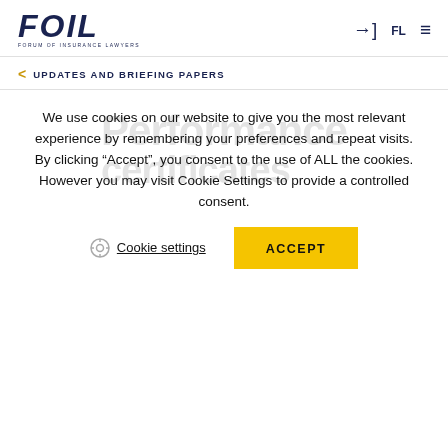FOIL FORUM OF INSURANCE LAWYERS
UPDATES AND BRIEFING PAPERS
We use cookies on our website to give you the most relevant experience by remembering your preferences and repeat visits. By clicking “Accept”, you consent to the use of ALL the cookies. However you may visit Cookie Settings to provide a controlled consent.
Cookie settings  ACCEPT